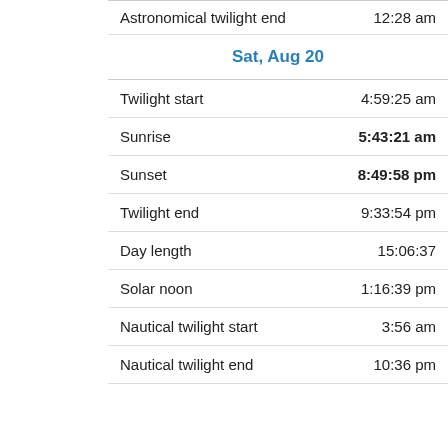| Event | Time |
| --- | --- |
| Astronomical twilight end | 12:28 am |
| Sat, Aug 20 |  |
| Twilight start | 4:59:25 am |
| Sunrise | 5:43:21 am |
| Sunset | 8:49:58 pm |
| Twilight end | 9:33:54 pm |
| Day length | 15:06:37 |
| Solar noon | 1:16:39 pm |
| Nautical twilight start | 3:56 am |
| Nautical twilight end | 10:36 pm |